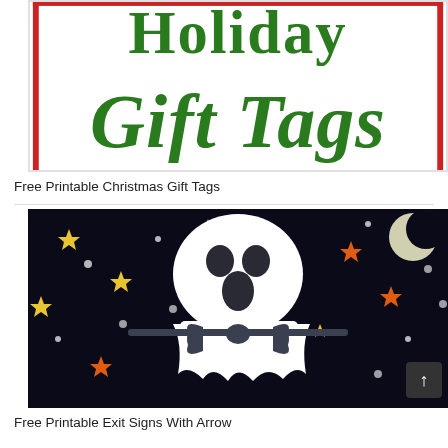[Figure (photo): Partial view of a Holiday Gift Tags printable image with red border, showing green decorative text 'Gift Tags' on white background with partial 'Holiday' text at top]
Free Printable Christmas Gift Tags
[Figure (photo): A white ghost craft made from a tissue/cloth with a black ribbon bow, dark oval eyes and mouth, against a black background decorated with colorful stars and white polka dots, with a crescent moon in the upper right]
Free Printable Exit Signs With Arrow